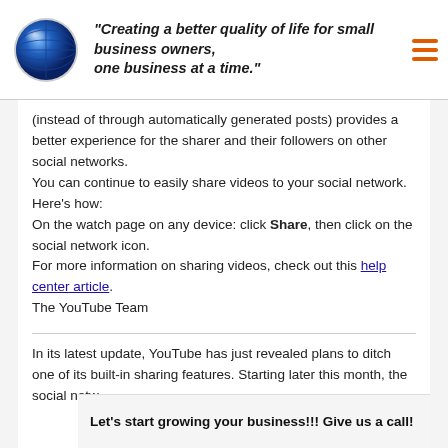"Creating a better quality of life for small business owners, one business at a time."
(instead of through automatically generated posts) provides a better experience for the sharer and their followers on other social networks.
You can continue to easily share videos to your social network. Here's how:
On the watch page on any device: click Share, then click on the social network icon.
For more information on sharing videos, check out this help center article.
The YouTube Team
In its latest update, YouTube has just revealed plans to ditch one of its built-in sharing features. Starting later this month, the social netw...
Let's start growing your business!!! Give us a call!